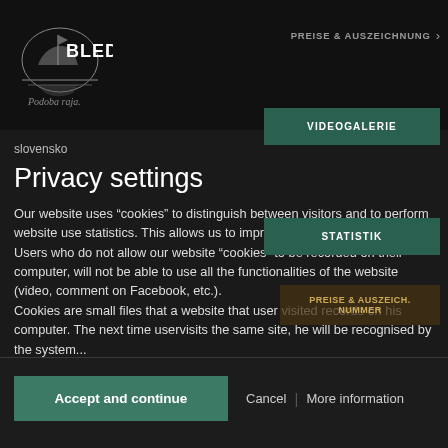[Figure (logo): Bled logo with boat/swan illustration and text 'BLED Podoba raja' in dark header]
PREISE & AUSZEICHNUNG >
slovensko
Privacy settings
Our website uses “cookies” to distinguish between visitors and to perform website use statistics. This allows us to improve the page constantly. Users who do not allow our website “cookies” to be recorded on their computer, will not be able to use all the functionalities of the website (video, comment on Facebook, etc.).
Cookies are small files that a website that user visited records on his computer. The next time uservisits the same site, he will be recognised by the system...
Accept and continue
Cancel
More information